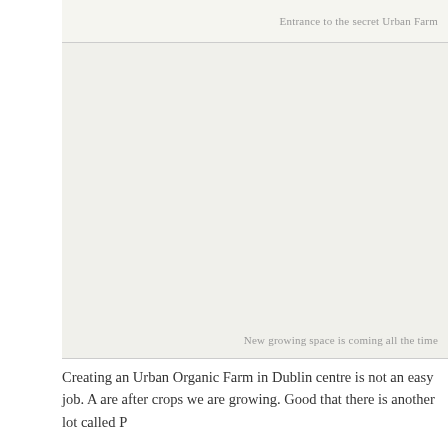Entrance to the secret Urban Farm
[Figure (photo): Large photograph area showing urban farm, mostly blank/light background representing image placeholder]
New growing space is coming all the time
Creating an Urban Organic Farm in Dublin centre is not an easy job. A are after crops we are growing. Good that there is another lot called P